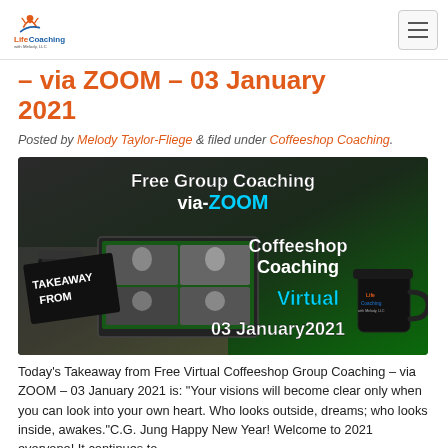Life Coaching with Melody, LLC
– via ZOOM – 03 January 2021
Posted by Melody Taylor-Fliege & filed under Coffeeshop Coaching.
[Figure (photo): Promotional image for Free Group Coaching Via-ZOOM Coffeeshop Coaching Virtual 03 January 2021 with TAKEAWAY FROM text overlay, laptop with video call participants, coffee cup, and LifeCoaching with Melody LLC mug]
Today's Takeaway from Free Virtual Coffeeshop Group Coaching – via ZOOM – 03 January 2021 is: "Your visions will become clear only when you can look into your own heart. Who looks outside, dreams; who looks inside, awakes."C.G. Jung Happy New Year! Welcome to 2021 everyone! It continues to